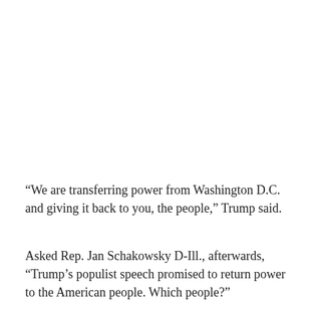“We are transferring power from Washington D.C. and giving it back to you, the people,” Trump said.
Asked Rep. Jan Schakowsky D-Ill., afterwards, “Trump’s populist speech promised to return power to the American people. Which people?”